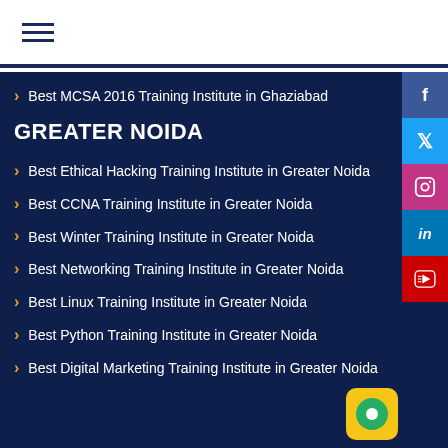≡ (hamburger menu)
Best MCSA 2016 Training Institute in Ghaziabad
GREATER NOIDA
Best Ethical Hacking Training Institute in Greater Noida
Best CCNA Training Institute in Greater Noida
Best Winter Training Institute in Greater Noida
Best Networking Training Institute in Greater Noida
Best Linux Training Institute in Greater Noida
Best Python Training Institute in Greater Noida
Best Digital Marketing Training Institute in Greater Noida